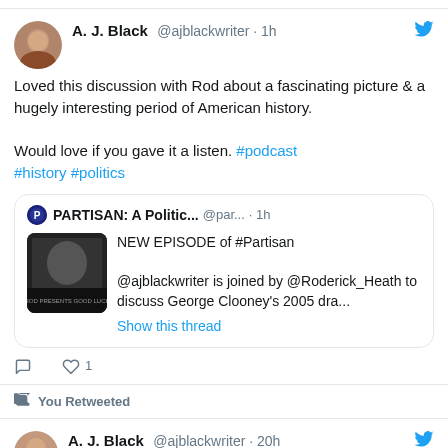[Figure (screenshot): Twitter/social media feed screenshot showing tweets by A. J. Black and a retweet section]
A. J. Black @ajblackwriter · 1h
Loved this discussion with Rod about a fascinating picture & a hugely interesting period of American history.

Would love if you gave it a listen. #podcast #history #politics
PARTISAN: A Politic... @par... · 1h
NEW EPISODE of #Partisan
@ajblackwriter is joined by @Roderick_Heath to discuss George Clooney's 2005 dra...
Show this thread
You Retweeted
A. J. Black @ajblackwriter · 20h